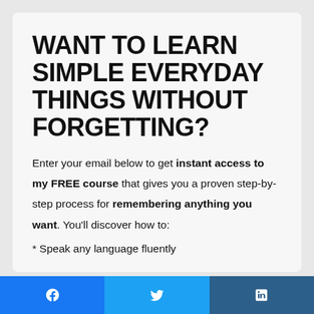WANT TO LEARN SIMPLE EVERYDAY THINGS WITHOUT FORGETTING?
Enter your email below to get instant access to my FREE course that gives you a proven step-by-step process for remembering anything you want. You'll discover how to:
* Speak any language fluently
[Figure (infographic): Social sharing bar with Facebook, Twitter, and LinkedIn buttons]